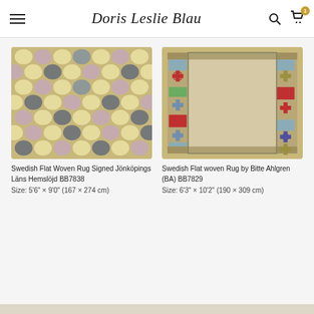Doris Leslie Blau
[Figure (photo): Swedish flat woven rug with hexagonal/honeycomb pattern in cream, rose, blue-gray and dark colors on tan background]
Swedish Flat Woven Rug Signed Jönköpings Läns Hemslöjd BB7838
Size: 5'6" × 9'0" (167 × 274 cm)
[Figure (photo): Swedish flat woven rug by Bitte Ahlgren with beige center field and colorful geometric border with snowflake/cross motifs in red, blue, green, olive on sides]
Swedish Flat woven Rug by Bitte Ahlgren (BA) BB7829
Size: 6'3" × 10'2" (190 × 309 cm)